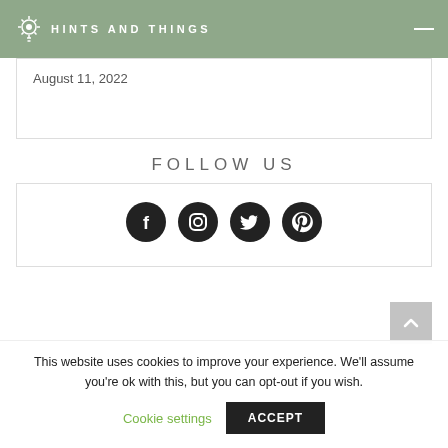HINTS AND THINGS
August 11, 2022
FOLLOW US
[Figure (illustration): Social media icons: Facebook, Instagram, Twitter, Pinterest]
This website uses cookies to improve your experience. We'll assume you're ok with this, but you can opt-out if you wish.
Cookie settings   ACCEPT